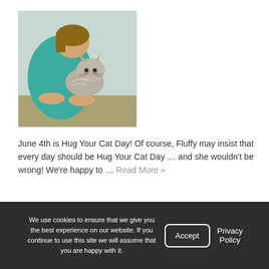[Figure (photo): Person in teal/green sweater hugging or nuzzling a fluffy grey cat, both leaning on a surface]
June 4th is Hug Your Cat Day! Of course, Fluffy may insist that every day should be Hug Your Cat Day … and she wouldn't be wrong! We're happy to … Read More »
Posted in Cat Care, General Care, General Health
Myths About Cats
May 15, 2022
We use cookies to ensure that we give you the best experience on our website. If you continue to use this site we will assume that you are happy with it.